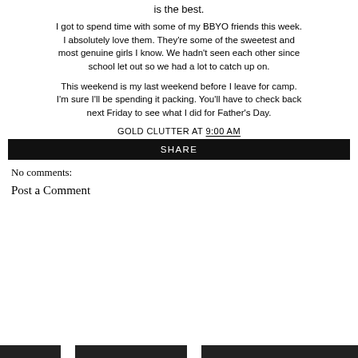is the best.
I got to spend time with some of my BBYO friends this week. I absolutely love them. They're some of the sweetest and most genuine girls I know. We hadn't seen each other since school let out so we had a lot to catch up on.
This weekend is my last weekend before I leave for camp. I'm sure I'll be spending it packing. You'll have to check back next Friday to see what I did for Father's Day.
GOLD CLUTTER AT 9:00 AM
SHARE
No comments:
Post a Comment